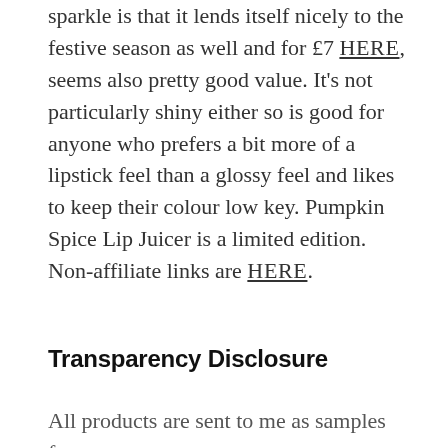sparkle is that it lends itself nicely to the festive season as well and for £7 HERE, seems also pretty good value. It's not particularly shiny either so is good for anyone who prefers a bit more of a lipstick feel than a glossy feel and likes to keep their colour low key. Pumpkin Spice Lip Juicer is a limited edition. Non-affiliate links are HERE.
Transparency Disclosure
All products are sent to me as samples from